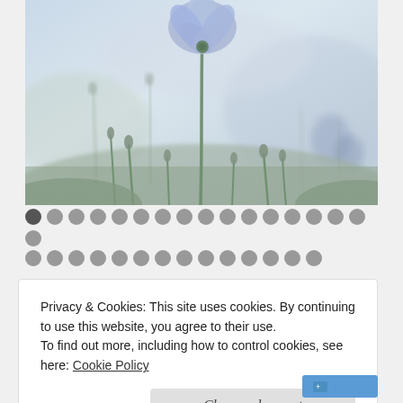[Figure (photo): Close-up photograph of delicate light purple/blue wildflowers (possibly flax or nemophila) with stems and buds against a soft, dreamy blurred background in muted blue-green tones.]
[Figure (infographic): Two rows of circular dot navigation indicators. The first dot in the top row is darker/active (dark gray), the rest are lighter gray. There are approximately 17 dots in the first row and 14 in the second row.]
Privacy & Cookies: This site uses cookies. By continuing to use this website, you agree to their use.
To find out more, including how to control cookies, see here: Cookie Policy
Close and accept